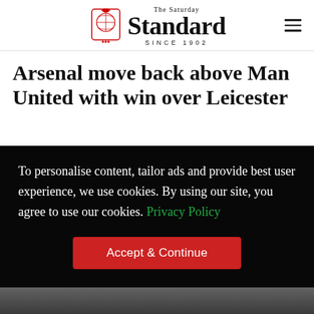The Saturday Standard — SINCE 1902
Arsenal move back above Man United with win over Leicester
To personalise content, tailor ads and provide best user experience, we use cookies. By using our site, you agree to use our cookies. Privacy Policy
Accept & Continue
[Figure (photo): Partial view of players at bottom of page]